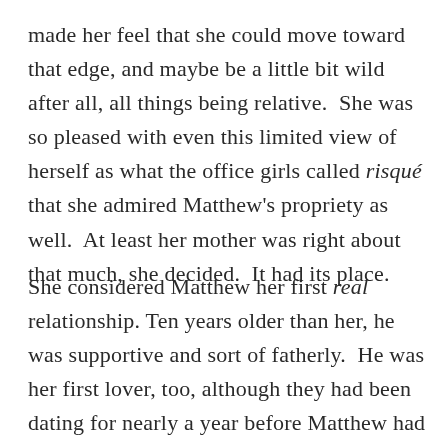made her feel that she could move toward that edge, and maybe be a little bit wild after all, all things being relative.  She was so pleased with even this limited view of herself as what the office girls called risqué that she admired Matthew's propriety as well.  At least her mother was right about that much, she decided.  It had its place.
She considered Matthew her first real relationship. Ten years older than her, he was supportive and sort of fatherly.  He was her first lover, too, although they had been dating for nearly a year before Matthew had even suggested sleeping together.  She'd been ready long before that but